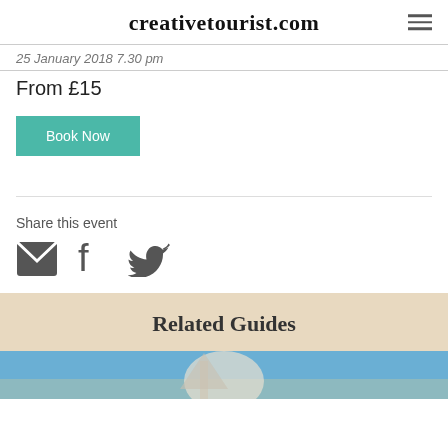creativetourist.com
25 January 2018 7.30 pm
From £15
[Figure (other): Teal 'Book Now' button]
Share this event
[Figure (other): Social sharing icons: email, facebook, twitter]
Related Guides
[Figure (photo): Partial photo of a building against blue sky, cut off at bottom of page]